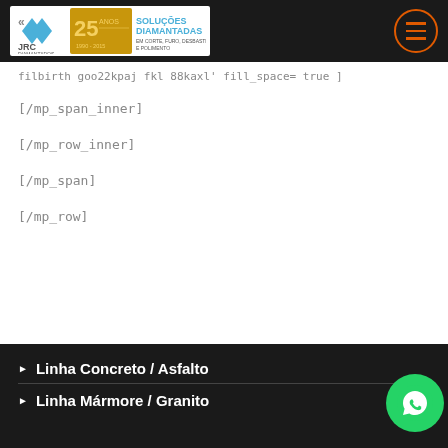[Figure (logo): JRC Diamantados logo with 25 anos badge and 'Soluções Diamantadas em Corte, Furo, Desbaste e Polimento' text]
filbirth goo22kpaj fkl 88kaxl' fill_space= true ]
[/mp_span_inner]
[/mp_row_inner]
[/mp_span]
[/mp_row]
Linha Concreto / Asfalto
Linha Mármore / Granito